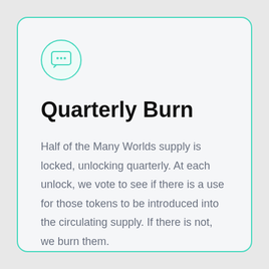[Figure (illustration): A teal-outlined circle containing a chat bubble icon with three dots inside]
Quarterly Burn
Half of the Many Worlds supply is locked, unlocking quarterly. At each unlock, we vote to see if there is a use for those tokens to be introduced into the circulating supply. If there is not, we burn them.